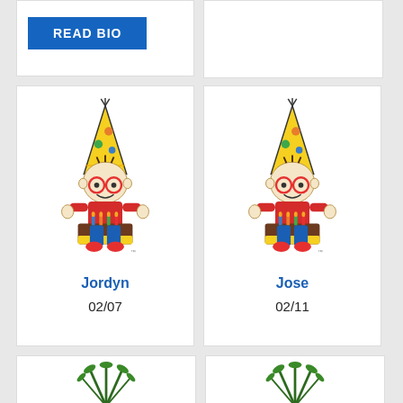[Figure (illustration): Partial card top-left with READ BIO blue button]
[Figure (illustration): Partial card top-right, empty white card]
[Figure (illustration): Birthday character cartoon - boy with party hat and birthday cake, labeled Jordyn, date 02/07]
Jordyn
02/07
[Figure (illustration): Birthday character cartoon - boy with party hat and birthday cake, labeled Jose, date 02/11]
Jose
02/11
[Figure (illustration): Partial bottom-left card showing top of a palm tree / pineapple illustration]
[Figure (illustration): Partial bottom-right card showing top of a palm tree / pineapple illustration]